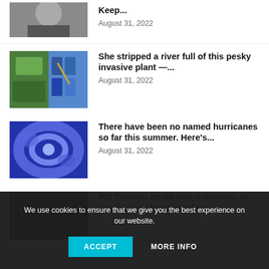[Figure (photo): Partial photo of a person in a dark hoodie, cropped at top]
Keep...
August 31, 2022
[Figure (photo): Two photos: green plant material and blue plastic trays with plants and a wooden spoon]
She stripped a river full of this pesky invasive plant —...
August 31, 2022
[Figure (photo): Blue swirling liquid or gas, resembling a hurricane satellite view]
There have been no named hurricanes so far this summer. Here's...
August 31, 2022
[Figure (photo): Dark photo of a person near a window or grid structure]
PM Trudeau could face subpoena to testify at residential school
We use cookies to ensure that we give you the best experience on our website.
ACCEPT
MORE INFO